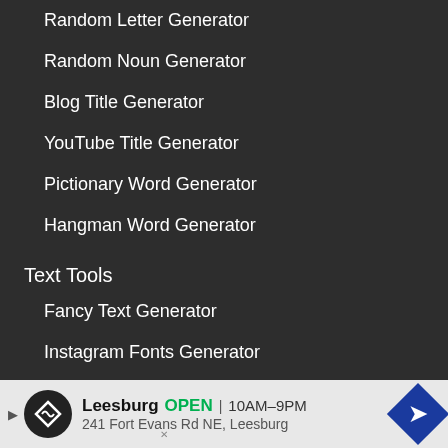Random Letter Generator
Random Noun Generator
Blog Title Generator
YouTube Title Generator
Pictionary Word Generator
Hangman Word Generator
Text Tools
Fancy Text Generator
Instagram Fonts Generator
Small Text Generator
Italic Text Generator
Strikethrough Text Generator
Ital...
Cu...
[Figure (screenshot): Advertisement banner: Leesburg OPEN 10AM-9PM, 241 Fort Evans Rd NE, Leesburg]